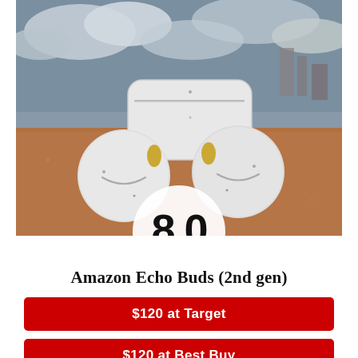[Figure (photo): Amazon Echo Buds (2nd gen) white earbuds with charging case, placed on sandy/gravel ground with cloudy sky background. A circular white badge overlaps the bottom of the photo showing the score 8.0.]
Amazon Echo Buds (2nd gen)
$120 at Target
$120 at Best Buy